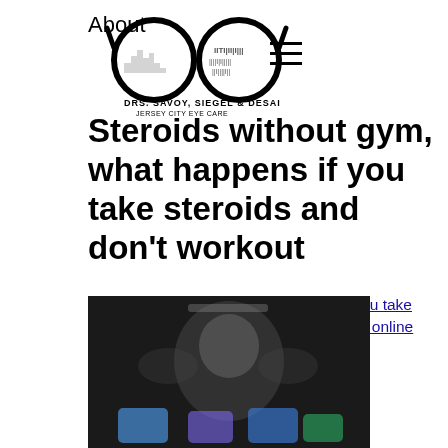About | Drs. Savoy, Siegel & Desai
Steroids without gym, what happens if you take steroids and don't workout
Steroids without gym, what happens if you take steroids and don't workout - Buy steroids online
[Figure (photo): Blurred dark image of a person in a gym setting with colorful supplement containers at the bottom]